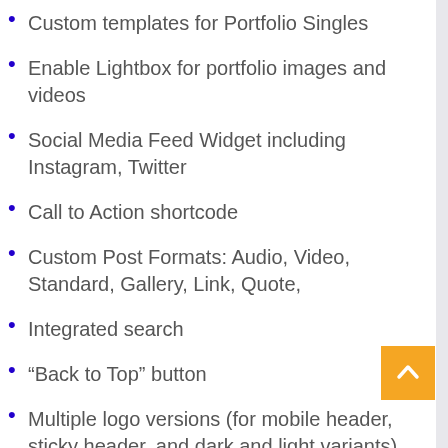Custom templates for Portfolio Singles
Enable Lightbox for portfolio images and videos
Social Media Feed Widget including Instagram, Twitter
Call to Action shortcode
Custom Post Formats: Audio, Video, Standard, Gallery, Link, Quote,
Integrated search
“Back to Top” button
Multiple logo versions (for mobile header, sticky header, and dark and light variants)
800+ Google Fonts